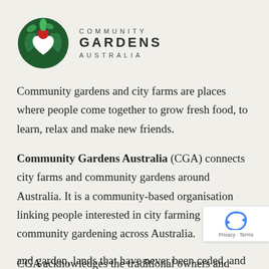[Figure (logo): Community Gardens Australia circular logo with green hands holding a heart and vegetables including a red tomato, alongside text COMMUNITY GARDENS AUSTRALIA]
Community gardens and city farms are places where people come together to grow fresh food, to learn, relax and make new friends.
Community Gardens Australia (CGA) connects city farms and community gardens around Australia. It is a community-based organisation linking people interested in city farming and community gardening across Australia.
CGA acknowledges the traditional owners and custodians of the lands upon which we live and garden, lands that have never been ceded, and we